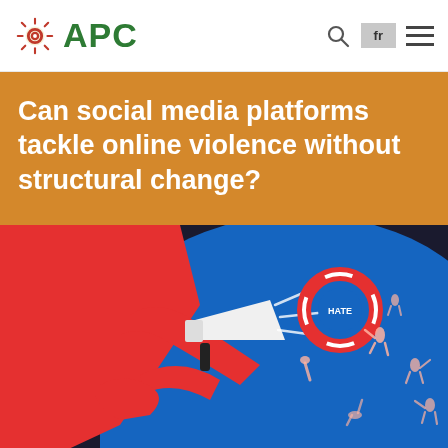APC
Can social media platforms tackle online violence without structural change?
[Figure (illustration): Colorful illustration of a figure in red holding a megaphone, shouting into a blue space filled with small human figures, with a red and white life ring labeled HATE floating nearby, on a dark background.]